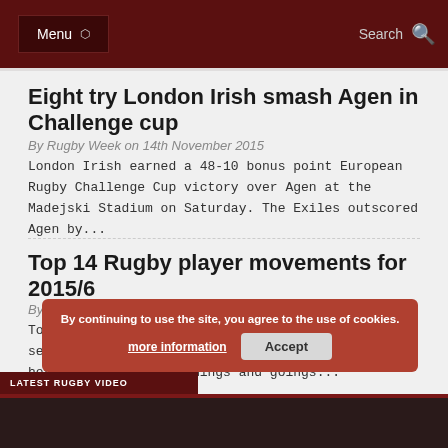Menu | Search
Eight try London Irish smash Agen in Challenge cup
By Rugby Week on 14th November 2015
London Irish earned a 48-10 bonus point European Rugby Challenge Cup victory over Agen at the Madejski Stadium on Saturday. The Exiles outscored Agen by...
Top 14 Rugby player movements for 2015/6
By Rugby Week on 10th September 2015
Top 14 Rugby player signings for 2015/6 Every season players move from one club to another and here we list the r comings and goings...
By continuing to use the site, you agree to the use of cookies. more information Accept
LATEST RUGBY VIDEO